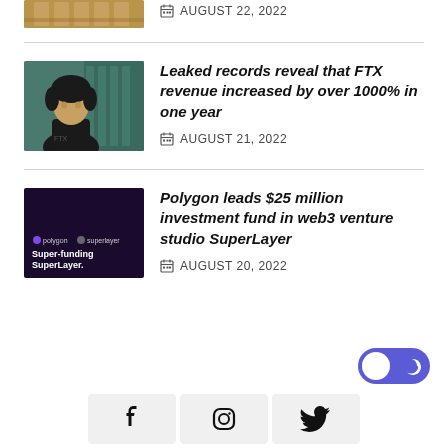[Figure (photo): Partial view of a building with decorative architecture, cropped at top]
AUGUST 22, 2022
Leaked records reveal that FTX revenue increased by over 1000% in one year
AUGUST 21, 2022
Polygon leads $25 million investment fund in web3 venture studio SuperLayer
AUGUST 20, 2022
[Figure (other): Dark mode / light mode toggle button, circular white circle on purple background with moon icon]
[Figure (other): Social media icon buttons: Facebook, Instagram, Twitter]